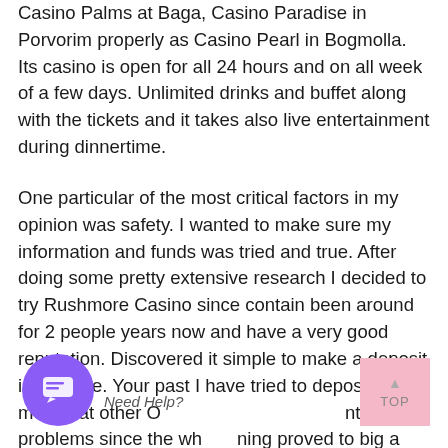Casino Palms at Baga, Casino Paradise in Porvorim properly as Casino Pearl in Bogmolla. Its casino is open for all 24 hours and on all week of a few days. Unlimited drinks and buffet along with the tickets and it takes also live entertainment during dinnertime.
One particular of the most critical factors in my opinion was safety. I wanted to make sure my information and funds was tried and true. After doing some pretty extensive research I decided to try Rushmore Casino since contain been around for 2 people years now and have a very good reputation. Discovered it simple to make a deposit in that site. Your past I have tried to deposit money at other Online casinos and run into big problems since the whole thing proved to big a really big annoy.